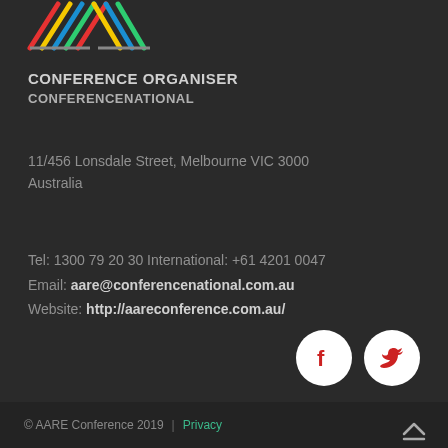[Figure (logo): AARE conference logo with coloured diagonal lines]
CONFERENCE ORGANISER
CONFERENCENATIONAL
11/456 Lonsdale Street, Melbourne VIC 3000
Australia
Tel: 1300 79 20 30 International: +61 4201 0047
Email: aare@conferencenational.com.au
Website: http://aareconference.com.au/
[Figure (logo): Facebook icon in red on white circle]
[Figure (logo): Twitter icon in red on white circle]
© AARE Conference 2019  |  Privacy